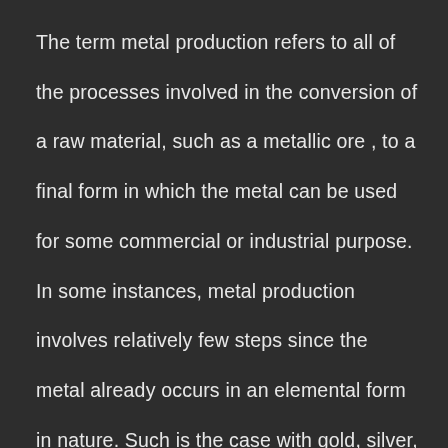The term metal production refers to all of the processes involved in the conversion of a raw material, such as a metallic ore , to a final form in which the metal can be used for some commercial or industrial purpose. In some instances, metal production involves relatively few steps since the metal already occurs in an elemental form in nature. Such is the case with gold, silver, platinum, and other so-called noble metals. These metals